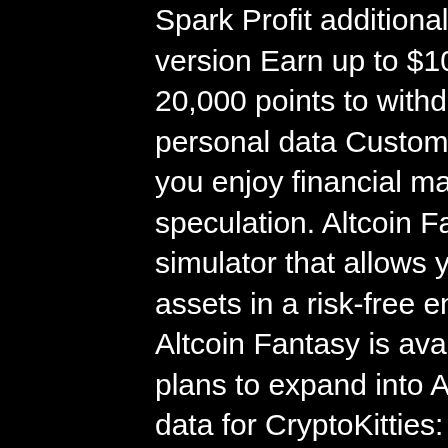Spark Profit additional features include: PC and mobile version Earn up to $100 weekly Minimum balance of 20,000 points to withdraw Privacy systems in place for personal data Customer support. VERDICT : Suitable if you enjoy financial markets and have a knack for speculation. Altcoin Fantasy is a free crypto trade simulator that allows you to learn how to trade digital assets in a risk-free environment. Launched in 2018, Altcoin Fantasy is available in the US and Canada with plans to expand into Asia, bitstarz careers. DAppRadar data for CryptoKitties: Users (24hr): 480 Volume (7d): $35,700 Txs (7d): 46,900, bitstarz careers. The withdrawal minimum is 10,000 satoshis a day, bitstarz bitcoin casino ingen innskuddsbonus codes 2022. 13, en iyi ve güvenilir canlı casino siteleri 2021, en güvenilir. Günün slot oyunu #pragmaticplay #danceparty,. 25 free spins for brand